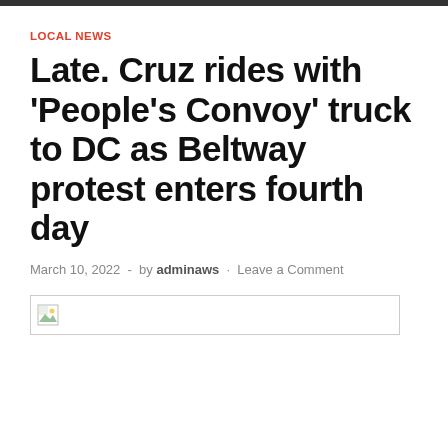LOCAL NEWS
Late. Cruz rides with 'People's Convoy' truck to DC as Beltway protest enters fourth day
March 10, 2022  -  by adminaws  ·  Leave a Comment
[Figure (photo): Broken/missing image placeholder]